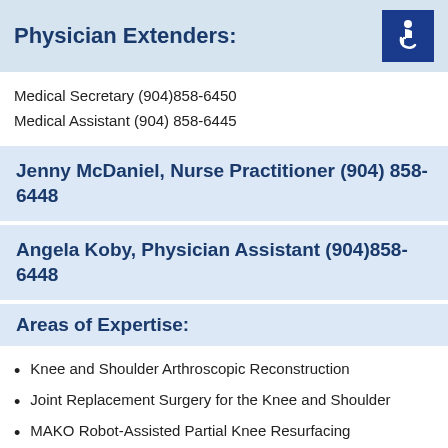Physician Extenders:
Medical Secretary (904)858-6450
Medical Assistant (904) 858-6445
Jenny McDaniel, Nurse Practitioner (904) 858-6448
Angela Koby, Physician Assistant (904)858-6448
Areas of Expertise:
Knee and Shoulder Arthroscopic Reconstruction
Joint Replacement Surgery for the Knee and Shoulder
MAKO Robot-Assisted Partial Knee Resurfacing
Sports Medicine